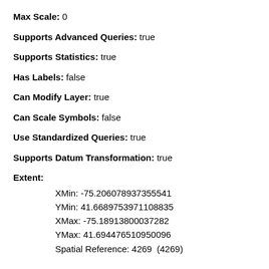Max Scale: 0
Supports Advanced Queries: true
Supports Statistics: true
Has Labels: false
Can Modify Layer: true
Can Scale Symbols: false
Use Standardized Queries: true
Supports Datum Transformation: true
Extent:
XMin: -75.206078937355541
YMin: 41.6689753971108835
XMax: -75.18913800037282
YMax: 41.694476510950096
Spatial Reference: 4269  (4269)
Drawing Info: